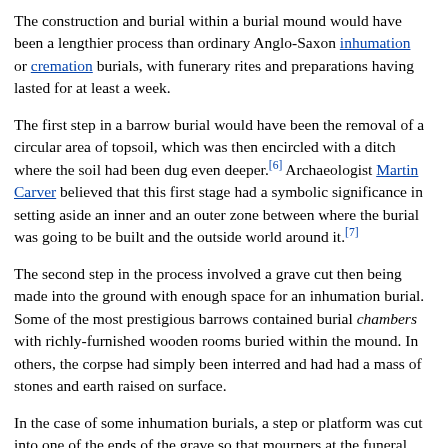The construction and burial within a burial mound would have been a lengthier process than ordinary Anglo-Saxon inhumation or cremation burials, with funerary rites and preparations having lasted for at least a week.
The first step in a barrow burial would have been the removal of a circular area of topsoil, which was then encircled with a ditch where the soil had been dug even deeper.[6] Archaeologist Martin Carver believed that this first stage had a symbolic significance in setting aside an inner and an outer zone between where the burial was going to be built and the outside world around it.[7]
The second step in the process involved a grave cut then being made into the ground with enough space for an inhumation burial. Some of the most prestigious barrows contained burial chambers with richly-furnished wooden rooms buried within the mound. In others, the corpse had simply been interred and had had a mass of stones and earth raised on surface.
In the case of some inhumation burials, a step or platform was cut into one of the ends of the grave so that mourners at the funeral could kneel down and arrange the corpse and their grave goods.[8] In certain cases, the grave-cut, or at least its bottom, was sealed with clay prior to the body then being placed into it with their